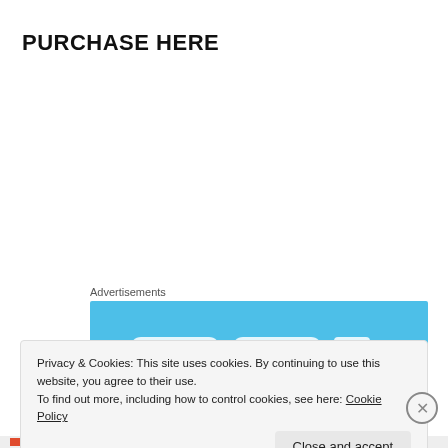PURCHASE HERE
Amazon
Barnes and Noble
[Figure (other): Advertisements banner with blue background and white rounded button elements]
Privacy & Cookies: This site uses cookies. By continuing to use this website, you agree to their use.
To find out more, including how to control cookies, see here: Cookie Policy
Close and accept